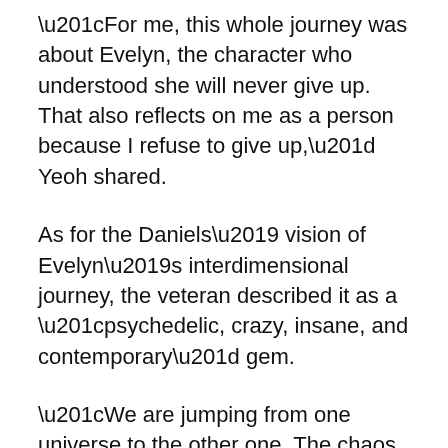“For me, this whole journey was about Evelyn, the character who understood she will never give up. That also reflects on me as a person because I refuse to give up,” Yeoh shared.
As for the Daniels’ vision of Evelyn’s interdimensional journey, the veteran described it as a “psychedelic, crazy, insane, and contemporary” gem.
“We are jumping from one universe to the other one. The chaos at that moment of filming is also what the character was going through,” she revealed.
The actress admitted that she felt Evelyn’s struggle